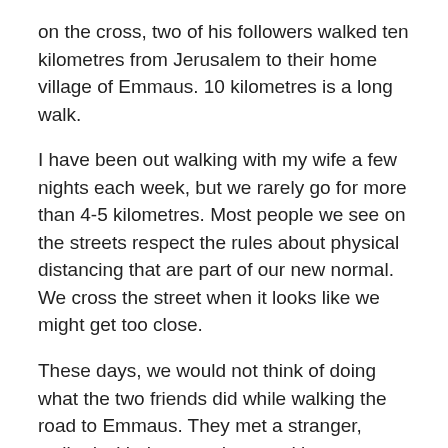on the cross, two of his followers walked ten kilometres from Jerusalem to their home village of Emmaus. 10 kilometres is a long walk.
I have been out walking with my wife a few nights each week, but we rarely go for more than 4-5 kilometres. Most people we see on the streets respect the rules about physical distancing that are part of our new normal. We cross the street when it looks like we might get too close.
These days, we would not think of doing what the two friends did while walking the road to Emmaus. They met a stranger, walked with them, and entered into a lengthy, and deep conversation.
The two travelling companions were heart-broken at the death of Jesus. They'd heard about Jesus having appeared to some of his followers, but did not know what